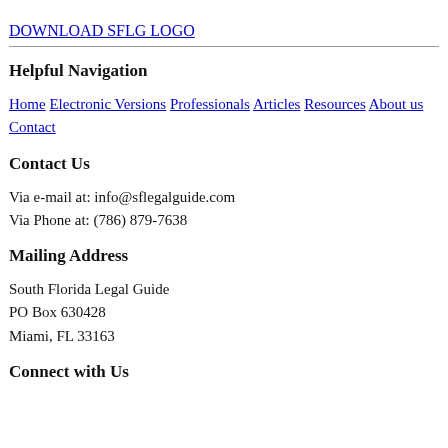DOWNLOAD SFLG LOGO
Helpful Navigation
Home Electronic Versions Professionals Articles Resources About us Contact
Contact Us
Via e-mail at: info@sflegalguide.com
Via Phone at: (786) 879-7638
Mailing Address
South Florida Legal Guide
PO Box 630428
Miami, FL 33163
Connect with Us